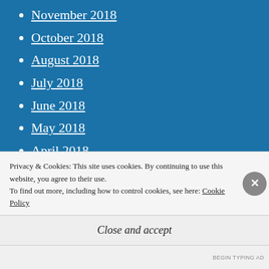November 2018
October 2018
August 2018
July 2018
June 2018
May 2018
April 2018
March 2018
December 2017
November 2017
October 2017
Privacy & Cookies: This site uses cookies. By continuing to use this website, you agree to their use.
To find out more, including how to control cookies, see here: Cookie Policy
Close and accept